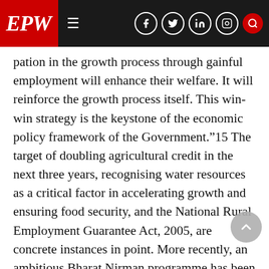EPW
pation in the growth process through gainful employment will enhance their welfare. It will reinforce the growth process itself. This win-win strategy is the keystone of the economic policy framework of the Government.”15 The target of doubling agricultural credit in the next three years, recognising water resources as a critical factor in accelerating growth and ensuring food security, and the National Rural Employment Guarantee Act, 2005, are concrete instances in point. More recently, an ambitious Bharat Nirman programme has been conceived, under which one crore hectares of unirrigated land will be irrigated, o 60 lakh rural houses will be built and all villages with a population of 1,000 and above would be